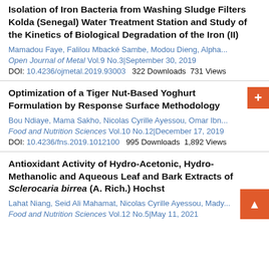Isolation of Iron Bacteria from Washing Sludge Filters Kolda (Senegal) Water Treatment Station and Study of the Kinetics of Biological Degradation of the Iron (II)
Mamadou Faye, Falilou Mbacké Sambe, Modou Dieng, Alpha...
Open Journal of Metal Vol.9 No.3 September 30, 2019
DOI: 10.4236/ojmetal.2019.93003   322 Downloads  731 Views
Optimization of a Tiger Nut-Based Yoghurt Formulation by Response Surface Methodology
Bou Ndiaye, Mama Sakho, Nicolas Cyrille Ayessou, Omar Ibn...
Food and Nutrition Sciences Vol.10 No.12 December 17, 2019
DOI: 10.4236/fns.2019.1012100   995 Downloads  1,892 Views
Antioxidant Activity of Hydro-Acetonic, Hydro-Methanolic and Aqueous Leaf and Bark Extracts of Sclerocaria birrea (A. Rich.) Hochst
Lahat Niang, Seid Ali Mahamat, Nicolas Cyrille Ayessou, Mady...
Food and Nutrition Sciences Vol.12 No.5 May 11, 2021